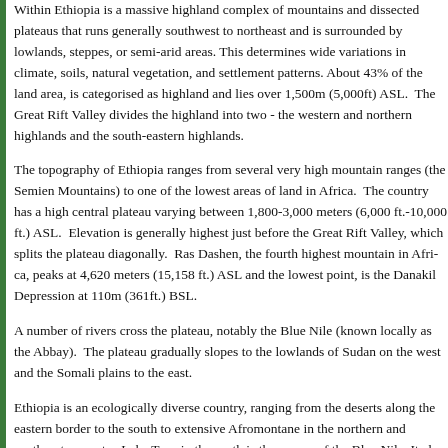Within Ethiopia is a massive highland complex of mountains and dissected plateaus that runs generally southwest to northeast and is surrounded by lowlands, steppes, or semi-arid areas. This determines wide variations in climate, soils, natural vegetation, and settlement patterns. About 43% of the land area, is categorised as highland and lies over 1,500m (5,000ft) ASL. The Great Rift Valley divides the highland into two - the western and northern highlands and the south-eastern highlands.
The topography of Ethiopia ranges from several very high mountain ranges (the Semien Mountains) to one of the lowest areas of land in Africa. The country has a high central plateau varying between 1,800-3,000 meters (6,000 ft.-10,000 ft.) ASL. Elevation is generally highest just before the Great Rift Valley, which splits the plateau diagonally. Ras Dashen, the fourth highest mountain in Africa, peaks at 4,620 meters (15,158 ft.) ASL and the lowest point, is the Danakil Depression at 110m (361 ft.) BSL.
A number of rivers cross the plateau, notably the Blue Nile (known locally as the Abbay). The plateau gradually slopes to the lowlands of Sudan on the west and the Somali plains to the east.
Ethiopia is an ecologically diverse country, ranging from the deserts along the eastern border to the south to extensive Afromontane in the northern and southeastern parts. Lake Tana in the north is the source of the Blue Nile. It also has a large number of endemic species , notably the Gelada Baboon, the Walia Ibex and the Ethiopian wolf (Simien fox ). The wide range of altitude has given the country a variety of ecologically distinct areas, and has helped the evolution of endemic species in ecological isolation.
Deforestation is a major concern for Ethiopia as studies suggest loss of forest contributes to erosion of the soil, loss of animal habitats and reduction in biodiversity. Ethiopia loses an estima...